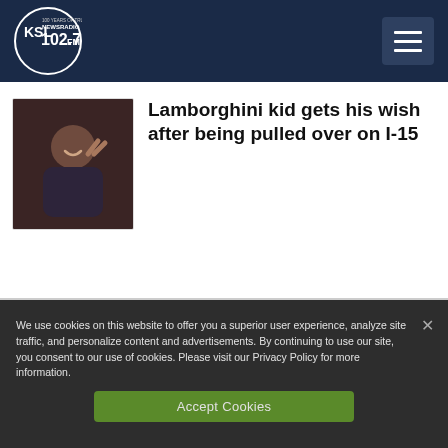KSL NewsRadio 102.7FM
[Figure (photo): Thumbnail photo of a smiling child making a peace sign gesture inside a vehicle]
Lamborghini kid gets his wish after being pulled over on I-15
We use cookies on this website to offer you a superior user experience, analyze site traffic, and personalize content and advertisements. By continuing to use our site, you consent to our use of cookies. Please visit our Privacy Policy for more information.